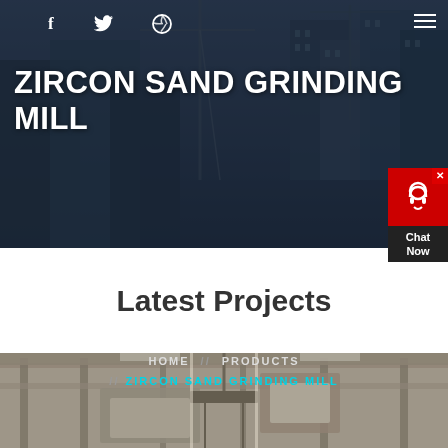[Figure (photo): Construction site background with cranes and buildings under a dark blue overlay, serving as hero banner image]
f  🐦  ⊕  ≡
ZIRCON SAND GRINDING MILL
HOME  //  PRODUCTS  //  ZIRCON SAND GRINDING MILL
[Figure (infographic): Red chat widget with headset icon labeled 'Chat Now' with a close X button]
Latest Projects
[Figure (photo): Construction machinery and equipment at a project site, partially visible at the bottom of the page]